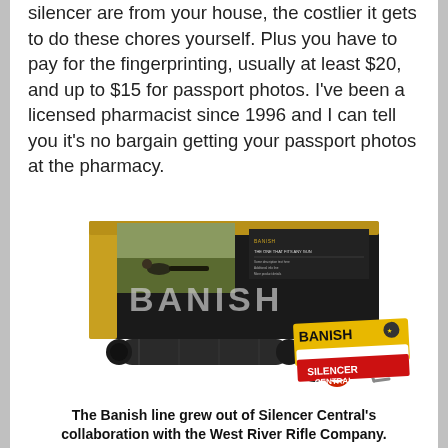silencer are from your house, the costlier it gets to do these chores yourself. Plus you have to pay for the fingerprinting, usually at least $20, and up to $15 for passport photos. I've been a licensed pharmacist since 1996 and I can tell you it's no bargain getting your passport photos at the pharmacy.
[Figure (photo): Product photo of the Banish silencer by Silencer Central — a black rectangular box with 'BANISH' branding and a hunting scene image, alongside the silencer tube, end cap, o-ring, hex key, and a yellow Banish/Silencer Central card.]
The Banish line grew out of Silencer Central's collaboration with the West River Rifle Company.